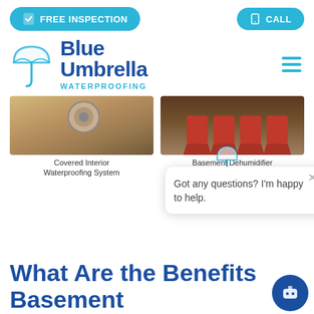FREE INSPECTION | CALL
[Figure (logo): Blue Umbrella Waterproofing logo with umbrella icon]
[Figure (photo): Covered Interior Waterproofing System - drain/wet floor photo]
Covered Interior Waterproofing System
[Figure (photo): Basement Dehumidifier - red blocks photo]
Basement Dehumidifier
Got any questions? I'm happy to help.
What Are the Benefits Basement